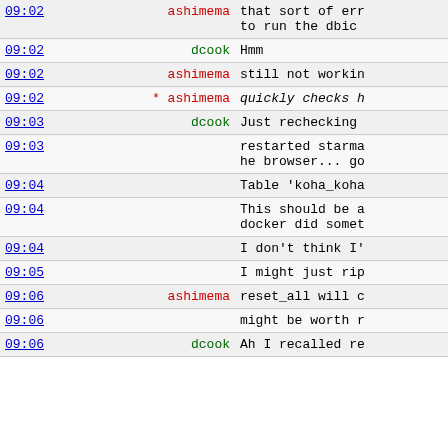| Time | User | Message |
| --- | --- | --- |
| 09:02 | ashimema | that sort of erro to run the dbic |
| 09:02 | dcook | Hmm |
| 09:02 | ashimema | still not workin |
| 09:02 | * ashimema | quickly checks h |
| 09:03 | dcook | Just rechecking |
| 09:03 |  | restarted starma he browser... go |
| 09:04 |  | Table 'koha_koha |
| 09:04 |  | This should be a docker did somet |
| 09:04 |  | I don't think I' |
| 09:05 |  | I might just rip |
| 09:06 | ashimema | reset_all will c |
| 09:06 |  | might be worth r |
| 09:06 | dcook | Ah I recalled re |